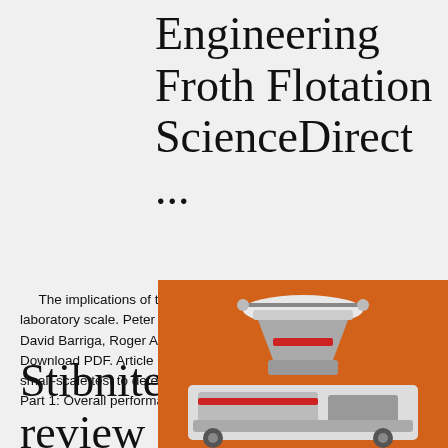Engineering Froth Flotation ScienceDirect ...
The implications of the froth recovery at the laboratory scale. Peter Amelunxen, Gerson Sa... David Barriga, Roger Amelunxen. Pages 54-6... Download PDF. Article preview. select article A... small-scale test to determine flotation performa... Part 1: Overall performance.
[Figure (photo): Advertisement panel with orange background showing mining/crushing machinery equipment photos, 'Enjoy 3% discount' yellow bar, 'Click to Chat' link, Enquiry section, and limingjlmofen@sina.com email contact]
Stibnite froth flotation: A critical review - ScienceDirect